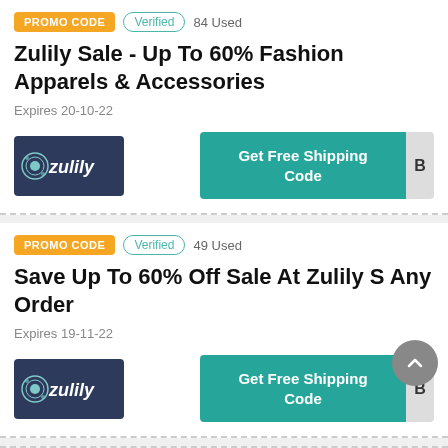PROMO CODE   Verified   84 Used
Zulily Sale - Up To 60% Fashion Apparels & Accessories
Expires 20-10-22
[Figure (logo): Zulily brand logo on dark blue background]
Get Free Shipping Code
PROMO CODE   Verified   49 Used
Save Up To 60% Off Sale At Zulily S Any Order
Expires 19-11-22
[Figure (logo): Zulily brand logo on dark blue background]
Get Free Shipping Code